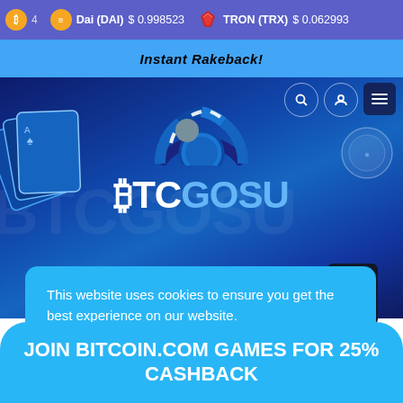Dai (DAI) $0.998523   TRON (TRX) $0.062993
Instant Rakeback!
[Figure (screenshot): BTCGOSU casino website banner with playing cards, casino chip, and BTCGOSU logo on dark blue gradient background with navigation icons]
This website uses cookies to ensure you get the best experience on our website.
JOIN BITCOIN.COM GAMES FOR 25% CASHBACK